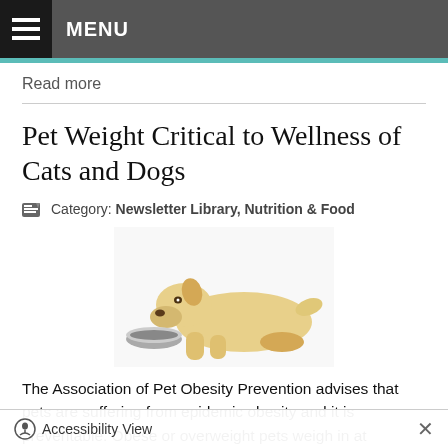MENU
Read more
Pet Weight Critical to Wellness of Cats and Dogs
Category: Newsletter Library, Nutrition & Food
[Figure (photo): A yellow Labrador dog eating from a stainless steel bowl]
The Association of Pet Obesity Prevention advises that pets are suffering from epidemic obesity and it is preventable. Obese or overweight pets weigh in at
Accessibility View